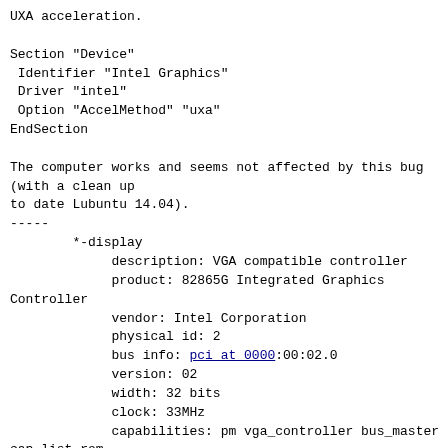UXA acceleration.
Section "Device"
 Identifier "Intel Graphics"
 Driver "intel"
 Option "AccelMethod" "uxa"
EndSection
The computer works and seems not affected by this bug (with a clean up to date Lubuntu 14.04).
-----
        *-display
             description: VGA compatible controller
             product: 82865G Integrated Graphics Controller
             vendor: Intel Corporation
             physical id: 2
             bus info: pci at 0000:00:02.0
             version: 02
             width: 32 bits
             clock: 33MHz
             capabilities: pm vga_controller bus_master cap_list rom
             configuration: driver=i915 latency=0
             resources: irq:16 memory:f0000000-f7ffffff memory:e8000000-e807ffff ioport:1800(size=8)
-----
Best regards